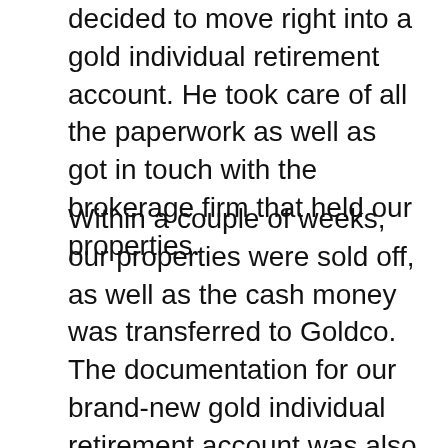decided to move right into a gold individual retirement account. He took care of all the paperwork as well as got in touch with the brokerage firm that held our properties.
Within a couple of weeks, our properties were sold off, as well as the cash money was transferred to Goldco. The documentation for our brand-new gold individual retirement account was also set up by our account representative. We obtained a extremely reasonable cost for our brand-new gold as well as obtained evidence it was being held securely as well as firmly at our custodian center.
Going forward, we will certainly still be appointed to our very same account